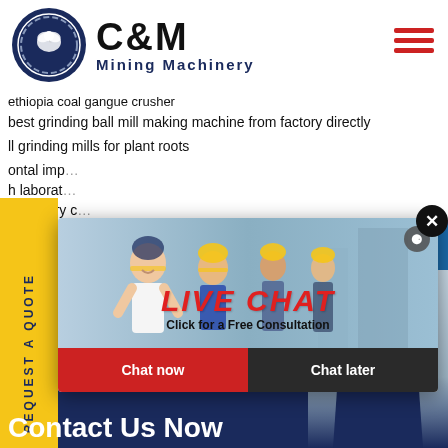[Figure (logo): C&M Mining Machinery logo with dark blue circular eagle/gear emblem and bold text]
ethiopia coal gangue crusher
best grinding ball mill making machine from factory directly
ll grinding mills for plant roots
ontal imp...
h laborato...
alt quarry ...
ration of c...
gold minin...
stone milli...
mining p...
[Figure (screenshot): Live Chat popup overlay with workers image, LIVE CHAT heading in red italic, 'Click for a Free Consultation' subtitle, Chat now and Chat later buttons]
[Figure (photo): Customer service agent with headset on right side panel]
REQUEST A QUOTE
Hours
line
Contact Us Now
Enquiry